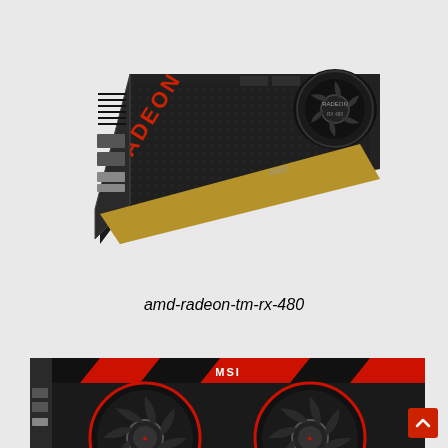[Figure (photo): AMD Radeon RX 480 graphics card shown in isometric perspective view, black shroud with red RADEON lettering, single blower fan, PCIe connector visible]
amd-radeon-tm-rx-480
[Figure (photo): MSI gaming graphics card with twin fan cooler, red and black color scheme with MSI dragon logo on fans, shown from front angle]